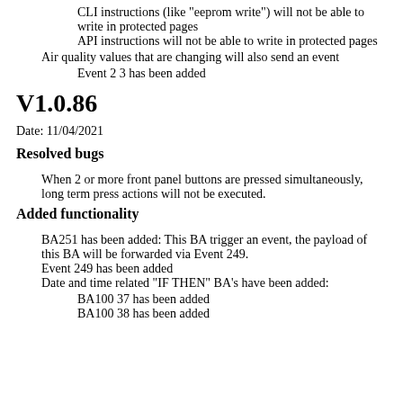CLI instructions (like "eeprom write") will not be able to write in protected pages
API instructions will not be able to write in protected pages
Air quality values that are changing will also send an event
Event 2 3 has been added
V1.0.86
Date: 11/04/2021
Resolved bugs
When 2 or more front panel buttons are pressed simultaneously, long term press actions will not be executed.
Added functionality
BA251 has been added: This BA trigger an event, the payload of this BA will be forwarded via Event 249.
Event 249 has been added
Date and time related "IF THEN" BA's have been added:
BA100 37 has been added
BA100 38 has been added